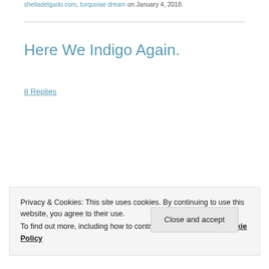sheliadelgado.com, turquoise dream on January 4, 2018.
Here We Indigo Again.
8 Replies
Privacy & Cookies: This site uses cookies. By continuing to use this website, you agree to their use.
To find out more, including how to control cookies, see here: Cookie Policy
Close and accept